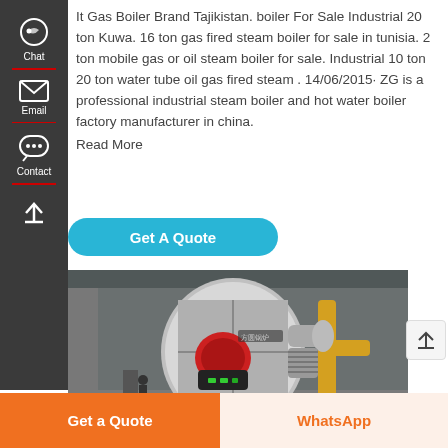It Gas Boiler Brand Tajikistan. boiler For Sale Industrial 20 ton Kuwa. 16 ton gas fired steam boiler for sale in tunisia. 2 ton mobile gas or oil steam boiler for sale. Industrial 10 ton 20 ton water tube oil gas fired steam . 14/06/2015· ZG is a professional industrial steam boiler and hot water boiler factory manufacturer in china. Read More
[Figure (screenshot): Get A Quote button with teal/cyan rounded rectangle styling, overlapping sidebar]
[Figure (photo): Industrial gas boiler with red burner front, large cylindrical body, yellow gas pipes and silver ductwork in a factory setting]
[Figure (infographic): Left sidebar with dark background showing Chat (headset icon), Email (envelope icon), Contact (speech bubble icon), and scroll-up arrow icons in white, with red dividers]
[Figure (screenshot): Scroll-up arrow button on right side]
Get a Quote
WhatsApp